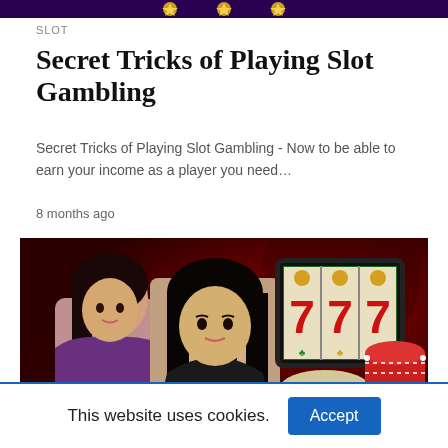[Figure (photo): Cropped top banner with dark purple/gold slot website header]
SLOT
Secret Tricks of Playing Slot Gambling
Secret Tricks of Playing Slot Gambling - Now to be able to earn your income as a player you need…
8 months ago
[Figure (photo): Casino promotional image featuring two Asian women, a slot machine tablet showing 777, a roll of cash, and red casino chips on a dark red background]
This website uses cookies.
Accept